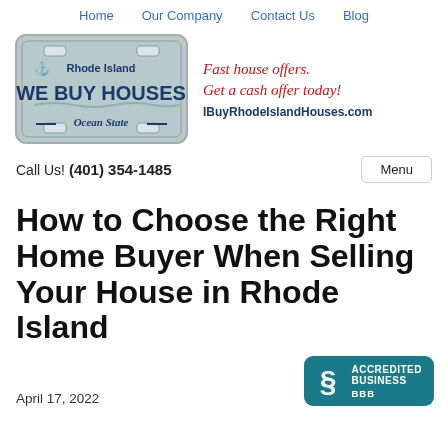Home   Our Company   Contact Us   Blog
[Figure (logo): Rhode Island We Buy Houses Ocean State license plate logo with tagline 'Fast house offers. Get a cash offer today!' and URL IBuyRhodeIslandHouses.com]
Call Us! (401) 354-1485
How to Choose the Right Home Buyer When Selling Your House in Rhode Island
April 17, 2022
[Figure (logo): BBB Accredited Business badge in teal/blue]